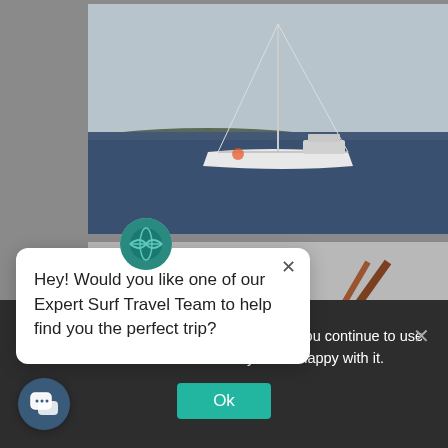[Figure (photo): White sailboat on dark blue ocean water with grey sky and distant coastline in background]
[Figure (photo): Close-up of wooden boat deck or railing structure, brown teak wood, partial view]
[Figure (screenshot): Chat popup card with avatar globe icon and close X button. Message: Hey! Would you like one of our Expert Surf Travel Team to help find you the perfect trip?]
Hey! Would you like one of our Expert Surf Travel Team to help find you the perfect trip?
you the best experience on our website. If you continue to use this site we will assume that you are happy with it.
Ok